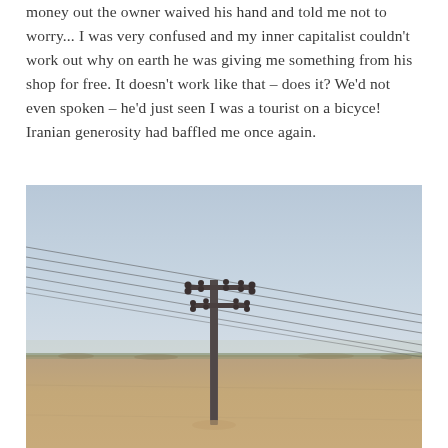money out the owner waived his hand and told me not to worry... I was very confused and my inner capitalist couldn't work out why on earth he was giving me something from his shop for free. It doesn't work like that – does it? We'd not even spoken – he'd just seen I was a tourist on a bicycle! Iranian generosity had baffled me once again.
[Figure (photo): A lone utility/telegraph pole standing in a flat, arid desert landscape under a pale blue hazy sky, with power lines extending diagonally across the scene. The ground is sandy brown with sparse dry vegetation on the horizon.]